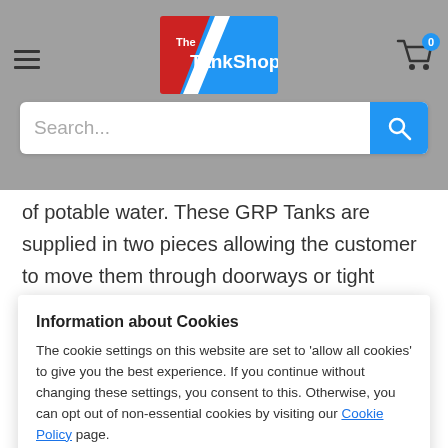The TankShop — navigation header with search bar
of potable water. These GRP Tanks are supplied in two pieces allowing the customer to move them through doorways or tight spaces for installation. Supplied with
Information about Cookies
The cookie settings on this website are set to 'allow all cookies' to give you the best experience. If you continue without changing these settings, you consent to this. Otherwise, you can opt out of non-essential cookies by visiting our Cookie Policy page.
competent engineer. Comes with 25mm of rigid foam